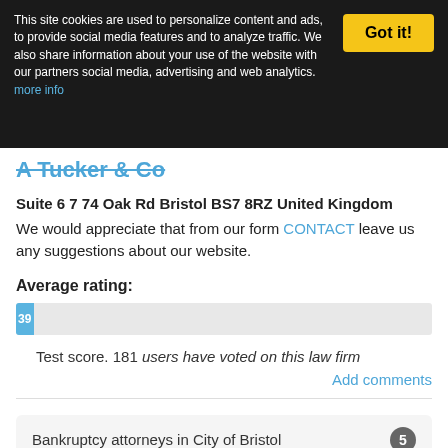This site cookies are used to personalize content and ads, to provide social media features and to analyze traffic. We also share information about your use of the website with our partners social media, advertising and web analytics. more info
A Tucker & Co
Suite 6 7 74 Oak Rd Bristol BS7 8RZ United Kingdom
We would appreciate that from our form CONTACT leave us any suggestions about our website.
Average rating:
Test score. 181 users have voted on this law firm
Add comments
Bankruptcy attorneys in City of Bristol   5